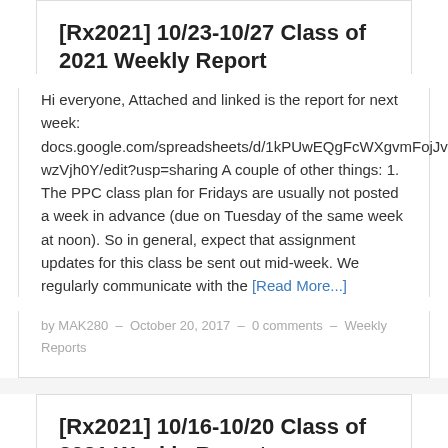[Rx2021] 10/23-10/27 Class of 2021 Weekly Report
Hi everyone, Attached and linked is the report for next week: docs.google.com/spreadsheets/d/1kPUwEQgFcWXgvmFojJv7b4IA9Xx_uzv-wzVjh0Y/edit?usp=sharing A couple of other things: 1. The PPC class plan for Fridays are usually not posted a week in advance (due on Tuesday of the same week at noon). So in general, expect that assignment updates for this class be sent out mid-week. We regularly communicate with the [Read More...]
by MAK280 — October 20, 2017 — 0 comments — Weekly Reports
[Rx2021] 10/16-10/20 Class of 2021 Weekly Report